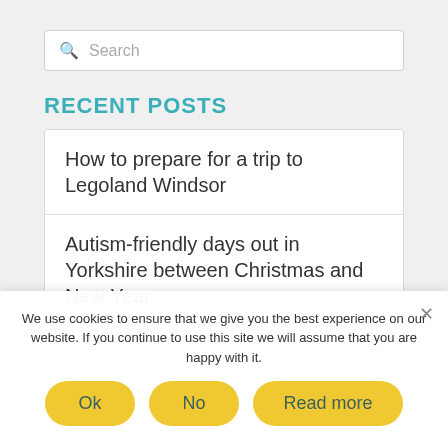[Figure (screenshot): Search input box with magnifying glass icon and placeholder text 'Search']
RECENT POSTS
How to prepare for a trip to Legoland Windsor
Autism-friendly days out in Yorkshire between Christmas and New Year
We use cookies to ensure that we give you the best experience on our website. If you continue to use this site we will assume that you are happy with it.
Ok | No | Read more